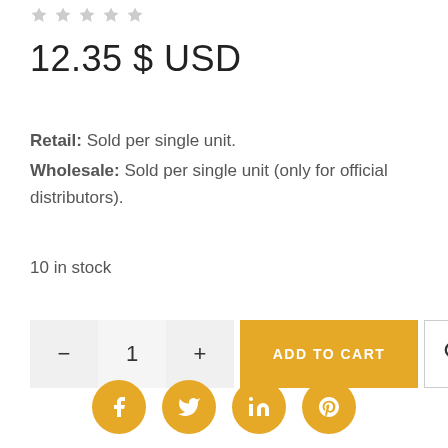[Figure (other): Five grey star rating icons]
12.35 $ USD
Retail: Sold per single unit. Wholesale: Sold per single unit (only for official distributors).
10 in stock
[Figure (other): Quantity selector with minus, 1, plus buttons; Add to Cart button; Wishlist heart button]
[Figure (other): Social share icons: Facebook, Twitter, LinkedIn, Pinterest]